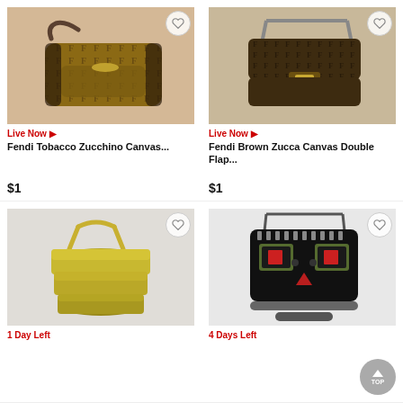[Figure (photo): Fendi Tobacco Zucchino Canvas handbag with monogram pattern]
Live Now ▶
Fendi Tobacco Zucchino Canvas...
$1
[Figure (photo): Fendi Brown Zucca Canvas Double Flap handbag with monogram pattern]
Live Now ▶
Fendi Brown Zucca Canvas Double Flap...
$1
[Figure (photo): Gold metallic Fendi handbag with tiered design]
1 Day Left
[Figure (photo): Fendi black leather bag with monster face design and red/green eyes]
4 Days Left